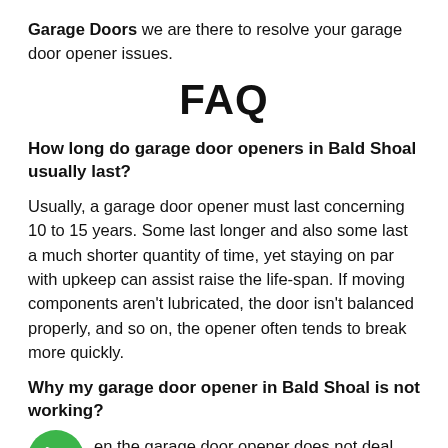Garage Doors we are there to resolve your garage door opener issues.
FAQ
How long do garage door openers in Bald Shoal usually last?
Usually, a garage door opener must last concerning 10 to 15 years. Some last longer and also some last a much shorter quantity of time, yet staying on par with upkeep can assist raise the life-span. If moving components aren't lubricated, the door isn't balanced properly, and so on, the opener often tends to break more quickly.
Why my garage door opener in Bald Shoal is not working?
en the garage door opener does not deal with